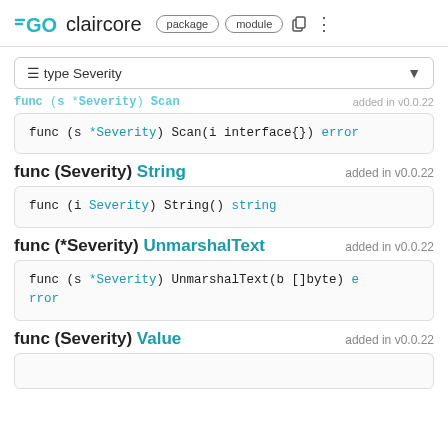GO claircore package module
≡ type Severity
func (s *Severity) Scan ... added in v0.0.22
func (Severity) String   added in v0.0.22
func (*Severity) UnmarshalText   added in v0.0.22
func (Severity) Value   added in v0.0.22